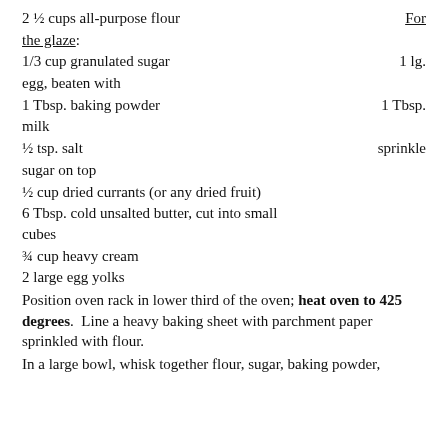2 ½ cups all-purpose flour
For the glaze:
1/3 cup granulated sugar
1 lg. egg, beaten with
1 Tbsp. baking powder
1 Tbsp. milk
½ tsp. salt
sprinkle sugar on top
½ cup dried currants (or any dried fruit)
6 Tbsp. cold unsalted butter, cut into small cubes
¾ cup heavy cream
2 large egg yolks
Position oven rack in lower third of the oven; heat oven to 425 degrees. Line a heavy baking sheet with parchment paper sprinkled with flour.
In a large bowl, whisk together flour, sugar, baking powder, and salt. Add butter; using your fingers, distribute the...